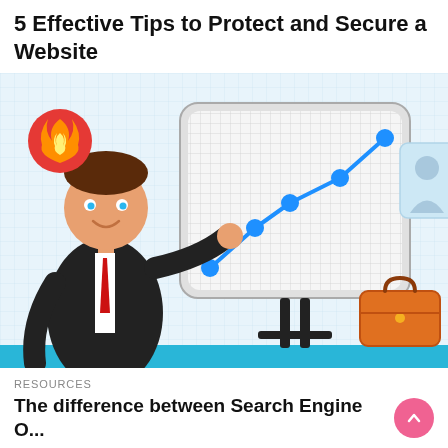5 Effective Tips to Protect and Secure a Website
[Figure (illustration): Cartoon businessman in black suit with red tie pointing at a whiteboard/easel showing an upward trending line chart with blue dots. A red fire icon badge in top left. An orange briefcase and a person silhouette icon visible on the right side. Light blue grid background.]
RESOURCES
The difference between Search Engine Optimization and Search Engine Positioning